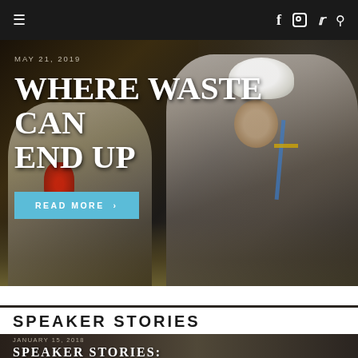≡  f  ○  𝕥  🔍
[Figure (photo): Workers in white hazmat suits and red gloves working in a dark sewer/tunnel environment, clearing waste. One worker wears a white hard hat and blue safety harness.]
MAY 21, 2019
WHERE WASTE CAN END UP
READ MORE ›
SPEAKER STORIES
[Figure (photo): Dark image with text overlay, beginning of second article card]
JANUARY 15, 2018
SPEAKER STORIES: